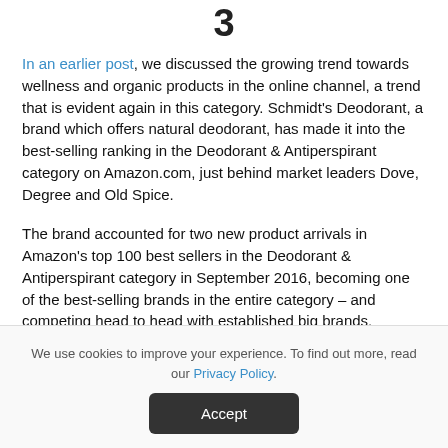3
In an earlier post, we discussed the growing trend towards wellness and organic products in the online channel, a trend that is evident again in this category. Schmidt's Deodorant, a brand which offers natural deodorant, has made it into the best-selling ranking in the Deodorant & Antiperspirant category on Amazon.com, just behind market leaders Dove, Degree and Old Spice.
The brand accounted for two new product arrivals in Amazon's top 100 best sellers in the Deodorant & Antiperspirant category in September 2016, becoming one of the best-selling brands in the entire category – and competing head to head with established big brands.
We use cookies to improve your experience. To find out more, read our Privacy Policy.
Accept